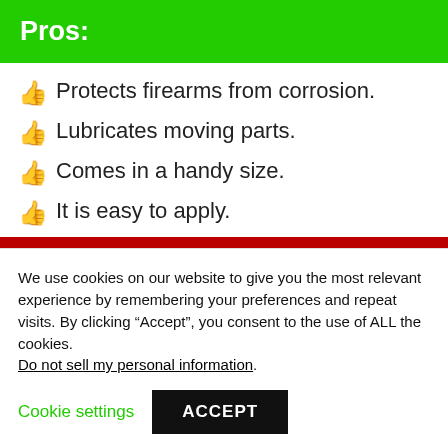Pros:
Protects firearms from corrosion.
Lubricates moving parts.
Comes in a handy size.
It is easy to apply.
Cons:
We use cookies on our website to give you the most relevant experience by remembering your preferences and repeat visits. By clicking “Accept”, you consent to the use of ALL the cookies. Do not sell my personal information.
Cookie settings | ACCEPT